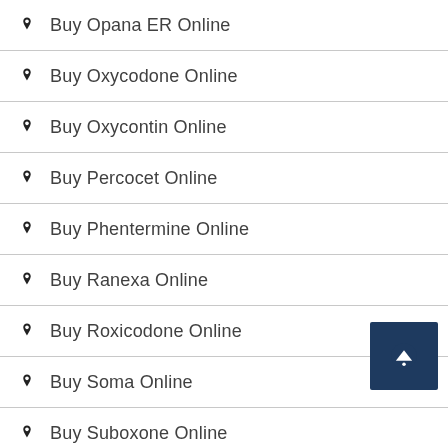Buy Opana ER Online
Buy Oxycodone Online
Buy Oxycontin Online
Buy Percocet Online
Buy Phentermine Online
Buy Ranexa Online
Buy Roxicodone Online
Buy Soma Online
Buy Suboxone Online
Buy Subutex Online
Buy Tramadol Online